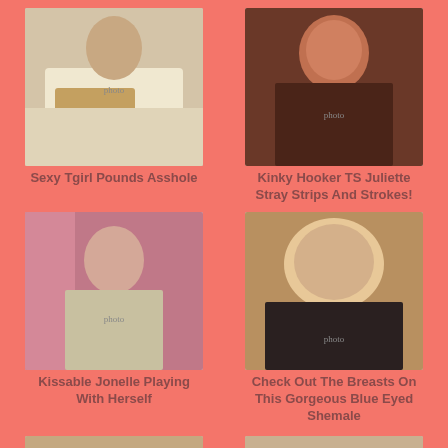[Figure (photo): Woman in leopard print dress on bed]
Sexy Tgirl Pounds Asshole
[Figure (photo): Red-haired woman in dark leather outfit]
Kinky Hooker TS Juliette Stray Strips And Strokes!
[Figure (photo): Woman in silver sequin dress]
Kissable Jonelle Playing With Herself
[Figure (photo): Blonde woman in black top]
Check Out The Breasts On This Gorgeous Blue Eyed Shemale
[Figure (photo): Partially visible photo bottom left]
[Figure (photo): Partially visible photo bottom right]